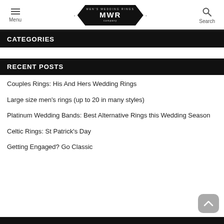Menu | MWR | Search
CATEGORIES
RECENT POSTS
Couples Rings: His And Hers Wedding Rings
Large size men's rings (up to 20 in many styles)
Platinum Wedding Bands: Best Alternative Rings this Wedding Season
Celtic Rings: St Patrick's Day
Getting Engaged? Go Classic